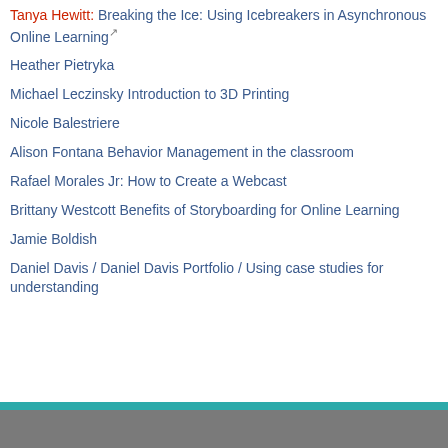Tanya Hewitt: Breaking the Ice: Using Icebreakers in Asynchronous Online Learning
Heather Pietryka
Michael Leczinsky Introduction to 3D Printing
Nicole Balestriere
Alison Fontana Behavior Management in the classroom
Rafael Morales Jr: How to Create a Webcast
Brittany Westcott Benefits of Storyboarding for Online Learning
Jamie Boldish
Daniel Davis / Daniel Davis Portfolio / Using case studies for understanding